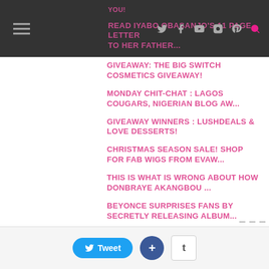Navigation header with hamburger menu and social icons
YOU!
READ IYABO OBASANJO'S 11 PAGE LETTER TO HER FATHER...
GIVEAWAY: THE BIG SWITCH COSMETICS GIVEAWAY!
MONDAY CHIT-CHAT : LAGOS COUGARS, NIGERIAN BLOG AW...
GIVEAWAY WINNERS : LUSHDEALS & LOVE DESSERTS!
CHRISTMAS SEASON SALE! SHOP FOR FAB WIGS FROM EVAW...
THIS IS WHAT IS WRONG ABOUT HOW DONBRAYE AKANGBOU ...
BEYONCE SURPRISES FANS BY SECRETLY RELEASING ALBUM...
Tweet  +  t